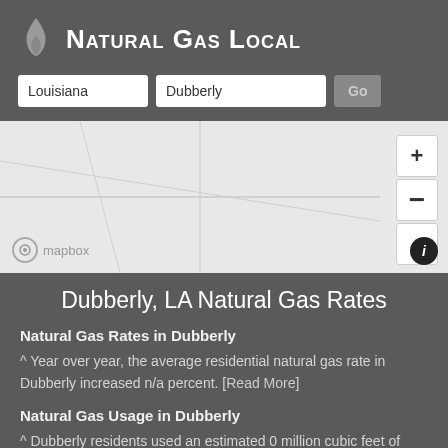Natural Gas Local
Dubberly, LA Natural Gas Rates
Natural Gas Rates in Dubberly
^ Year over year, the average residential natural gas rate in Dubberly increased n/a percent. [Read More]
Natural Gas Usage in Dubberly
^ Dubberly residents used an estimated 0 million cubic feet of
[Figure (map): Mapbox map showing the Dubberly, Louisiana area with zoom and compass controls on the right side.]